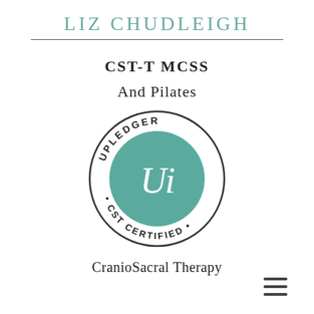LIZ CHUDLEIGH
CST-T MCSS
And Pilates
[Figure (logo): Upledger CST Certified circular seal logo with teal/green inner circle featuring stylized 'Ui' script, outer ring reads 'UPLEDGER • CST CERTIFIED •']
CranioSacral Therapy
[Figure (other): Hamburger menu icon (three horizontal lines)]